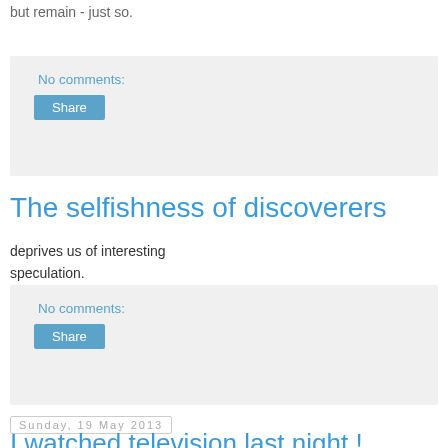but remain - just so.
No comments:
Share
The selfishness of discoverers
deprives us of interesting speculation.
No comments:
Share
Sunday, 19 May 2013
I watched television last night !